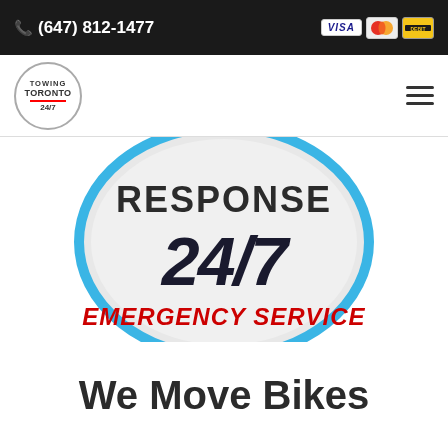(647) 812-1477
[Figure (logo): Towing Toronto 24/7 circular logo]
[Figure (infographic): Response 24/7 Emergency Service circular badge graphic]
We Move Bikes